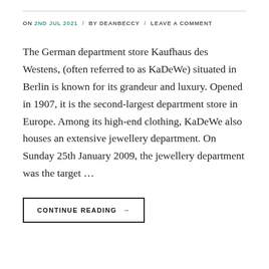ON 2ND JUL 2021 / BY DEANBECCY / LEAVE A COMMENT
The German department store Kaufhaus des Westens, (often referred to as KaDeWe) situated in Berlin is known for its grandeur and luxury. Opened in 1907, it is the second-largest department store in Europe. Among its high-end clothing, KaDeWe also houses an extensive jewellery department. On Sunday 25th January 2009, the jewellery department was the target …
CONTINUE READING →